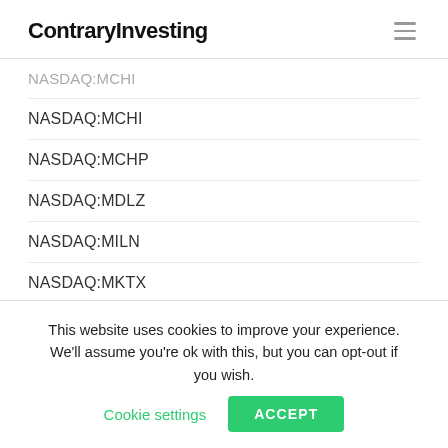ContraryInvesting
NASDAQ:MCHI
NASDAQ:MCHP
NASDAQ:MDLZ
NASDAQ:MILN
NASDAQ:MKTX
NASDAQ:MORN
NASDAQ:MRCC
NASDAQ:MRNA
This website uses cookies to improve your experience. We'll assume you're ok with this, but you can opt-out if you wish.
Cookie settings
ACCEPT